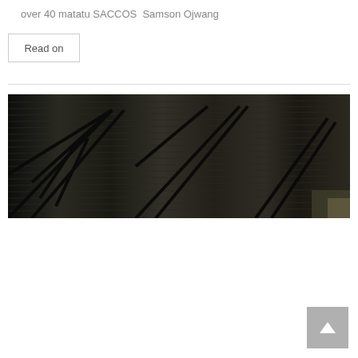over 40 matatu SACCOS  Samson Ojwang
Read on
[Figure (photo): Interior view of a large industrial or transit shed/terminal, looking up at a corrugated metal roof supported by steel trusses, dimly lit.]
[Figure (other): Back to top button — grey square with upward pointing triangle/arrow]